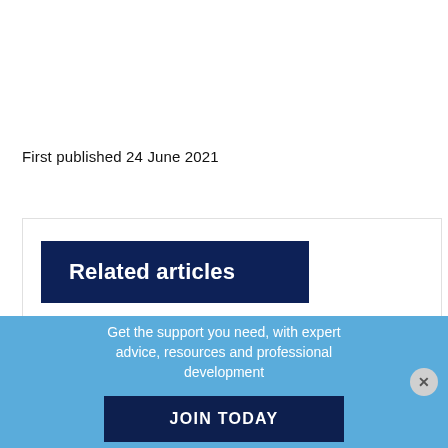First published 24 June 2021
Related articles
Get the support you need, with expert advice, resources and professional development
JOIN TODAY